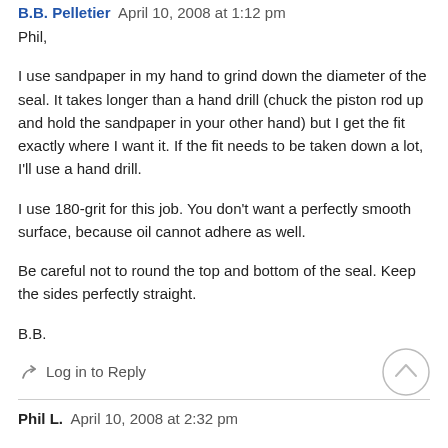B.B. Pelletier  April 10, 2008 at 1:12 pm
Phil,
I use sandpaper in my hand to grind down the diameter of the seal. It takes longer than a hand drill (chuck the piston rod up and hold the sandpaper in your other hand) but I get the fit exactly where I want it. If the fit needs to be taken down a lot, I'll use a hand drill.
I use 180-grit for this job. You don't want a perfectly smooth surface, because oil cannot adhere as well.
Be careful not to round the top and bottom of the seal. Keep the sides perfectly straight.
B.B.
Log in to Reply
Phil L.  April 10, 2008 at 2:32 pm